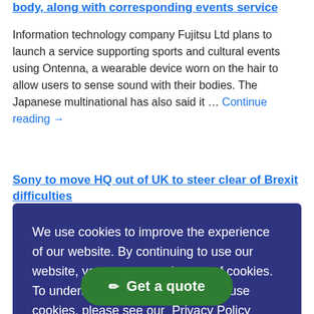body, along with corresponding events service
Information technology company Fujitsu Ltd plans to launch a service supporting sports and cultural events using Ontenna, a wearable device worn on the hair to allow users to sense sound with their bodies. The Japanese multinational has also said it … Continue reading →
Sony to move HQ out of UK to steer clear of Brexit difficulties
We use cookies to improve the experience of our website. By continuing to use our website, you consent to the use of cookies. To understand more about how we use cookies, please see our Privacy Policy
Accept & Continue
Get a quote